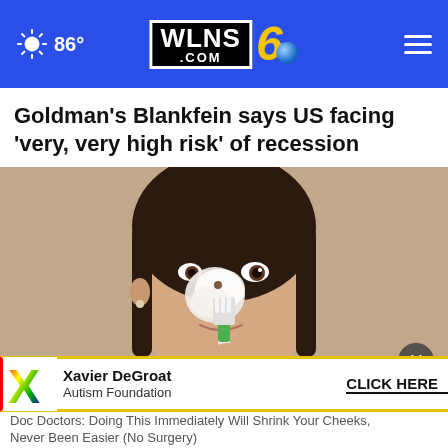WLNS 6 .COM | 86° weather | Navigation menu
Goldman's Blankfein says US facing 'very, very high risk' of recession
[Figure (photo): Woman applying shaving cream or face mask to her nose with a toothbrush. She has long dark hair and is looking to the side. The image appears to be a video thumbnail embedded in the article page.]
Doctors: Doing This Immediately Will Shrink Your Cheeks, Never Been Easier (No Surgery)